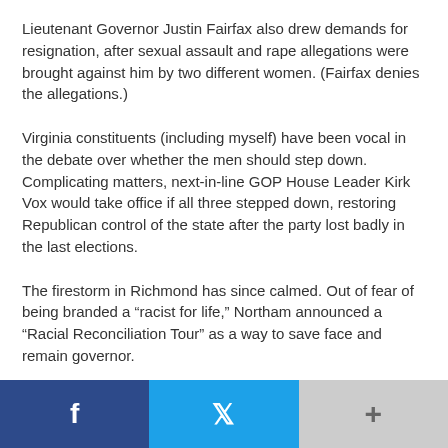Lieutenant Governor Justin Fairfax also drew demands for resignation, after sexual assault and rape allegations were brought against him by two different women. (Fairfax denies the allegations.)
Virginia constituents (including myself) have been vocal in the debate over whether the men should step down. Complicating matters, next-in-line GOP House Leader Kirk Vox would take office if all three stepped down, restoring Republican control of the state after the party lost badly in the last elections.
The firestorm in Richmond has since calmed. Out of fear of being branded a “racist for life,” Northam announced a “Racial Reconciliation Tour” as a way to save face and remain governor.
In a recent poll, 58 percent of Black voters believed Northam shouldn’t step down, as they considered a worse fate for
[Figure (infographic): Social sharing bar with Facebook (dark blue), Twitter (light blue), and a more/plus button (gray) at the bottom of the page]